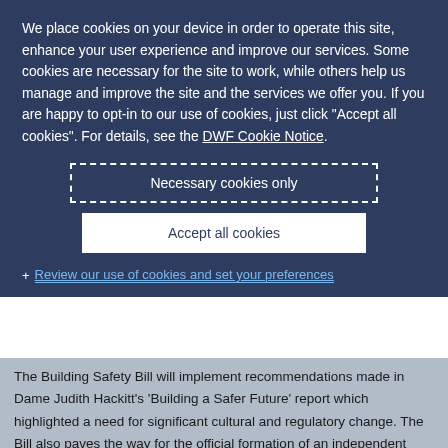We place cookies on your device in order to operate this site, enhance your user experience and improve our services. Some cookies are necessary for the site to work, while others help us manage and improve the site and the services we offer you. If you are happy to opt-in to our use of cookies, just click "Accept all cookies". For details, see the DWF Cookie Notice.
Necessary cookies only
Accept all cookies
+ Review our use of cookies and set your preferences
The Building Safety Bill will implement recommendations made in Dame Judith Hackitt's 'Building a Safer Future' report which highlighted a need for significant cultural and regulatory change. The Bill also paves the way for the official formation of an independent Building Safety Regulator (BSR)